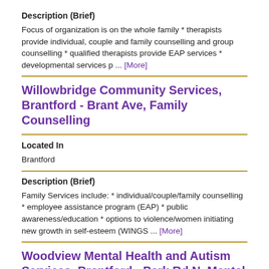Description (Brief)
Focus of organization is on the whole family * therapists provide individual, couple and family counselling and group counselling * qualified therapists provide EAP services * developmental services p ... [More]
Willowbridge Community Services, Brantford - Brant Ave, Family Counselling
Located In
Brantford
Description (Brief)
Family Services include: * individual/couple/family counselling * employee assistance program (EAP) * public awareness/education * options to violence/women initiating new growth in self-esteem (WINGS ... [More]
Woodview Mental Health and Autism Services, Brantford - Park Rd N, Mental Health Walk-In Clinic